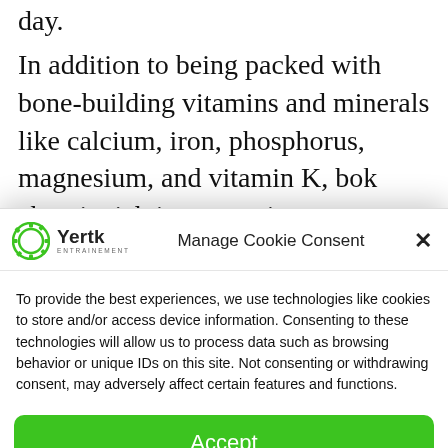day.
In addition to being packed with bone-building vitamins and minerals like calcium, iron, phosphorus, magnesium, and vitamin K, bok choy is rich in quercetin—a flavonoid that has been linked to reduced inflammation and protection against chronic
[Figure (screenshot): Cookie consent modal dialog with Yertk logo, 'Manage Cookie Consent' title, close button (x), body text about cookies, and a green Accept button]
Manage Cookie Consent
To provide the best experiences, we use technologies like cookies to store and/or access device information. Consenting to these technologies will allow us to process data such as browsing behavior or unique IDs on this site. Not consenting or withdrawing consent, may adversely affect certain features and functions.
Accept